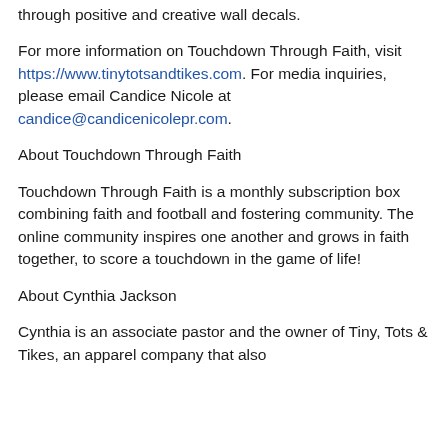through positive and creative wall decals.
For more information on Touchdown Through Faith, visit https://www.tinytotsandtikes.com. For media inquiries, please email Candice Nicole at candice@candicenicolepr.com.
About Touchdown Through Faith
Touchdown Through Faith is a monthly subscription box combining faith and football and fostering community. The online community inspires one another and grows in faith together, to score a touchdown in the game of life!
About Cynthia Jackson
Cynthia is an associate pastor and the owner of Tiny, Tots & Tikes, an apparel company that also